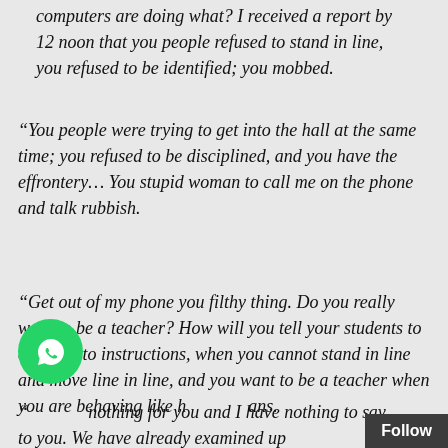computers are doing what? I received a report by 12 noon that you people refused to stand in line, you refused to be identified; you mobbed.
“You people were trying to get into the hall at the same time; you refused to be disciplined, and you have the effrontery… You stupid woman to call me on the phone and talk rubbish.
“Get out of my phone you filthy thing. Do you really want to be a teacher? How will you tell your students to conform to instructions, when you cannot stand in line and move line in line, and you want to be a teacher when you are behaving like humans.
“I have nothing for you and I have nothing to say to you. We have already examined up to…(S…